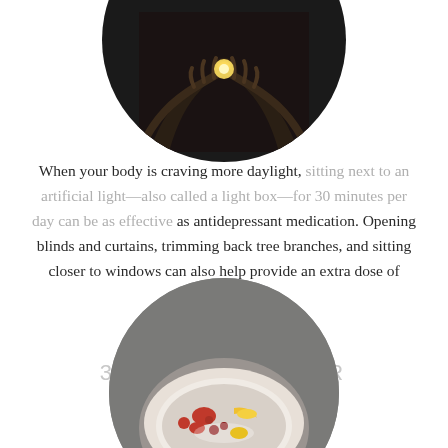[Figure (photo): Circular cropped photo of hands holding a glowing light against a dark background]
When your body is craving more daylight, sitting next to an artificial light—also called a light box—for 30 minutes per day can be as effective as antidepressant medication. Opening blinds and curtains, trimming back tree branches, and sitting closer to windows can also help provide an extra dose of sunshine.
3. EAT SMARTER
[Figure (photo): Circular cropped photo of a bowl of food with fruit (strawberries, banana, berries) on a dark gray plate/background]